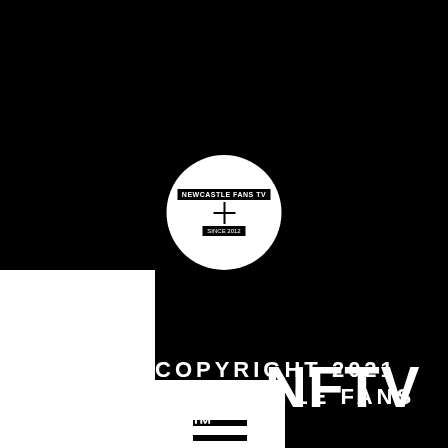[Figure (logo): Circular white logo with cross/plus symbol and text 'NEWCASTLE FANS TV' at top and small text below, on black background]
NFTV
[Figure (other): Hamburger menu icon (three horizontal lines) in white square box]
COPYRIGHT 2021 NEWCASTLE FANS TV™